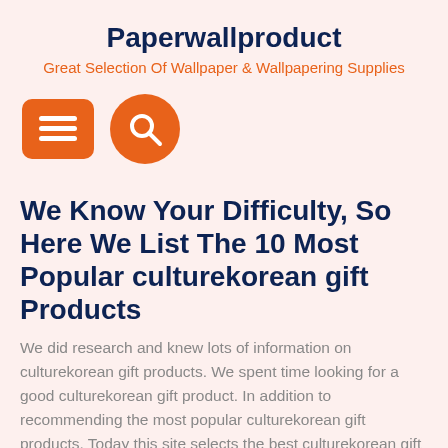Paperwallproduct
Great Selection Of Wallpaper & Wallpapering Supplies
[Figure (screenshot): Navigation icons: orange rounded-rectangle menu button with three white lines, and orange circle search button with white magnifying glass icon]
We Know Your Difficulty, So Here We List The 10 Most Popular culturekorean gift Products
We did research and knew lots of information on culturekorean gift products. We spent time looking for a good culturekorean gift product. In addition to recommending the most popular culturekorean gift products. Today this site selects the best culturekorean gift products in the post for you to choose. Check our post to